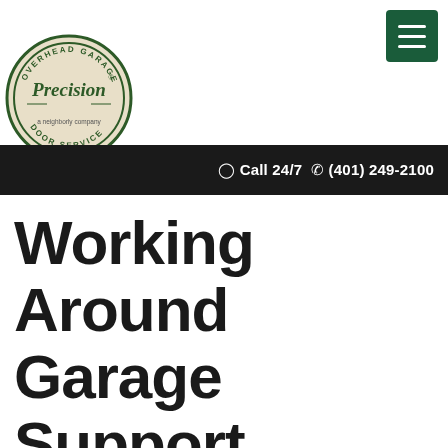[Figure (logo): Precision Overhead Garage Door Service logo — circular emblem with 'OVERHEAD GARAGE' at top, 'DOOR SERVICE' at bottom, 'Precision' in large script in center, 'a neighborly company' tagline below, dark green and tan color scheme]
☉ Call 24/7  ✆ (401) 249-2100
Working Around Garage Support Columns and Making Them Useful